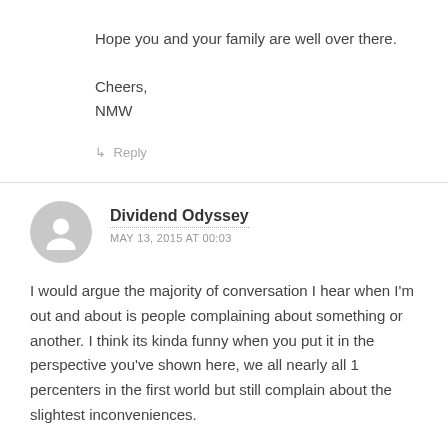Hope you and your family are well over there.
Cheers,
NMW
↳ Reply
Dividend Odyssey
MAY 13, 2015 AT 00:03
I would argue the majority of conversation I hear when I'm out and about is people complaining about something or another. I think its kinda funny when you put it in the perspective you've shown here, we all nearly all 1 percenters in the first world but still complain about the slightest inconveniences.